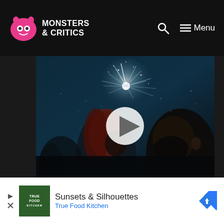Monsters & Critics
[Figure (photo): A couple about to kiss with fireworks in the background at night, with a white play button overlay in the center]
[Figure (infographic): Advertisement banner: True Food Kitchen - Sunsets & Silhouettes]